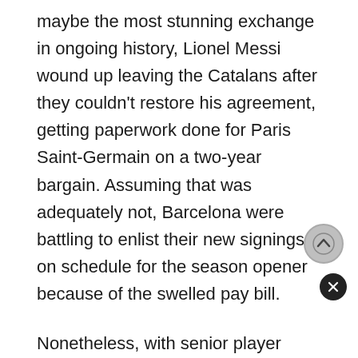maybe the most stunning exchange in ongoing history, Lionel Messi wound up leaving the Catalans after they couldn't restore his agreement, getting paperwork done for Paris Saint-Germain on a two-year bargain. Assuming that was adequately not, Barcelona were battling to enlist their new signings on schedule for the season opener because of the swelled pay bill.
Nonetheless, with senior player Gerard Pique moving forward to accept a 'enormous' decrease in salary, Barcelona had the option to enroll Memphis Depay, Eric Garcia and Rey Manaj with perfect timing for them to be accessible when Ronald Koeman and co. set to go head to head at Camp Nou.